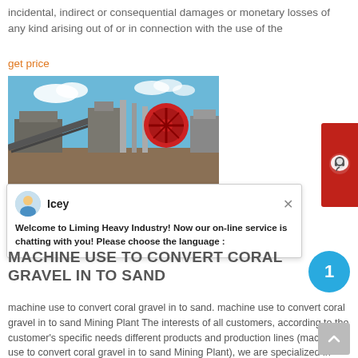incidental, indirect or consequential damages or monetary losses of any kind arising out of or in connection with the use of the
get price
[Figure (photo): Outdoor industrial mining or crushing plant machinery with blue sky background, showing metal structures, conveyor belts and a large red circular fan/motor unit.]
Welcome to Liming Heavy Industry! Now our on-line service is chatting with you! Please choose the language :
MACHINE USE TO CONVERT CORAL GRAVEL IN TO SAND
machine use to convert coral gravel in to sand. machine use to convert coral gravel in to sand Mining Plant The interests of all customers, according to the customer's specific needs different products and production lines (machine use to convert coral gravel in to sand Mining Plant), we are specialized in producing